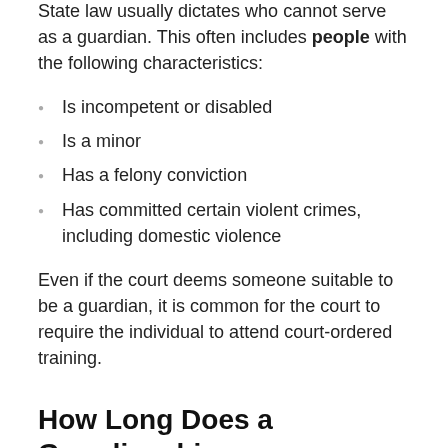State law usually dictates who cannot serve as a guardian. This often includes people with the following characteristics:
Is incompetent or disabled
Is a minor
Has a felony conviction
Has committed certain violent crimes, including domestic violence
Even if the court deems someone suitable to be a guardian, it is common for the court to require the individual to attend court-ordered training.
How Long Does a Guardianship Last?